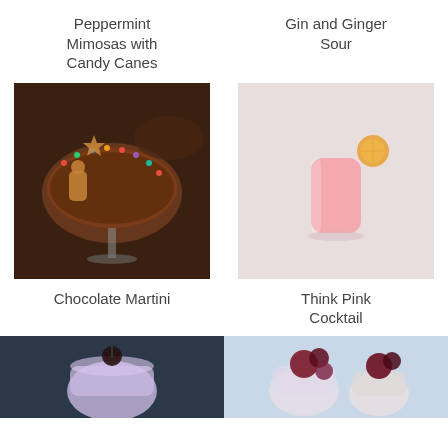Peppermint Mimosas with Candy Canes
Gin and Ginger Sour
[Figure (photo): A chocolate martini glass with colorful sprinkles on the rim and gingerbread cookie decorations, on a dark background]
[Figure (photo): A pink cocktail in a short glass garnished with a dried citrus slice, on a light grey background]
Chocolate Martini
Think Pink Cocktail
[Figure (photo): A lavender/light purple cocktail in a short glass with a dark cherry, on a dark slate background]
[Figure (photo): A cocktail with dark berries/cherries garnish in a glass, on a light blue background]